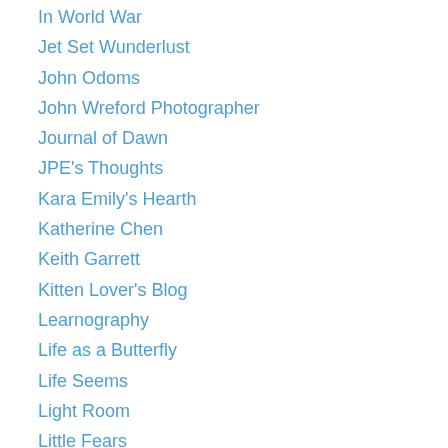In World War
Jet Set Wunderlust
John Odoms
John Wreford Photographer
Journal of Dawn
JPE's Thoughts
Kara Emily's Hearth
Katherine Chen
Keith Garrett
Kitten Lover's Blog
Learnography
Life as a Butterfly
Life Seems
Light Room
Little Fears
Lucy's Works
Med Lifestyle
Melissa Nosal: Illustration and Graphic Design
Mere Inkling
Milly Schmidt